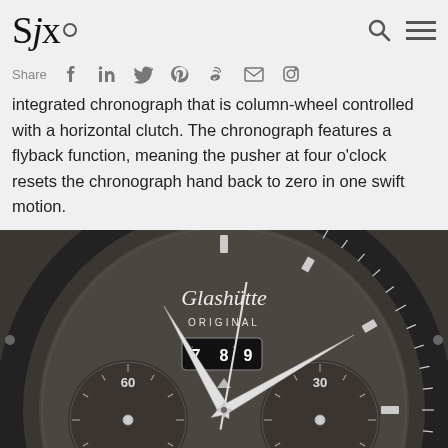SJx.
Share [social icons]
integrated chronograph that is column-wheel controlled with a horizontal clutch. The chronograph features a flyback function, meaning the pusher at four o'clock resets the chronograph hand back to zero in one swift motion.
[Figure (photo): Close-up photograph of a Glashütte Original watch dial showing two sub-dials (left with 60 and 40 markings, right with 30, 20, 10 markings), a date window showing 7,8,9, cursive Glashütte branding, and ORIGINAL text, with watch hands visible]